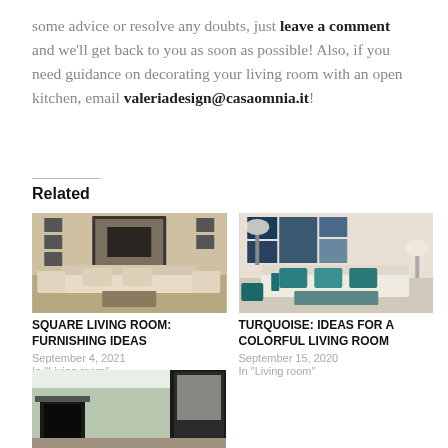some advice or resolve any doubts, just leave a comment and we’ll get back to you as soon as possible! Also, if you need guidance on decorating your living room with an open kitchen, email valeriadesign@casaomnia.it!
Related
[Figure (photo): Square living room with beige sofa, armchairs, large mirror, and glass coffee table]
SQUARE LIVING ROOM: FURNISHING IDEAS
September 4, 2021
In “Living room”
[Figure (photo): Turquoise themed living room with teal accents, white sofa, and gallery wall]
TURQUOISE: IDEAS FOR A COLORFUL LIVING ROOM
September 15, 2020
In “Living room”
[Figure (photo): Living room with green walls, fireplace, and dark door frame]